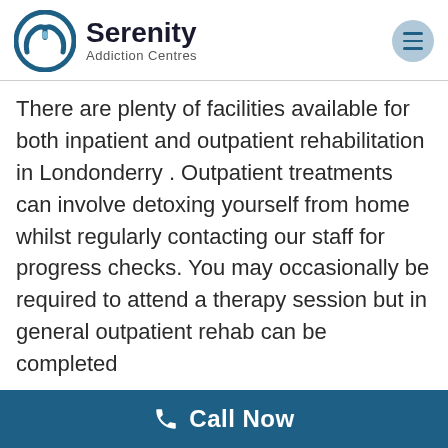[Figure (logo): Serenity Addiction Centres logo with circular blue icon containing a water drop and hand shape, with brand name and tagline]
There are plenty of facilities available for both inpatient and outpatient rehabilitation in Londonderry . Outpatient treatments can involve detoxing yourself from home whilst regularly contacting our staff for progress checks. You may occasionally be required to attend a therapy session but in general outpatient rehab can be completed
Call Now